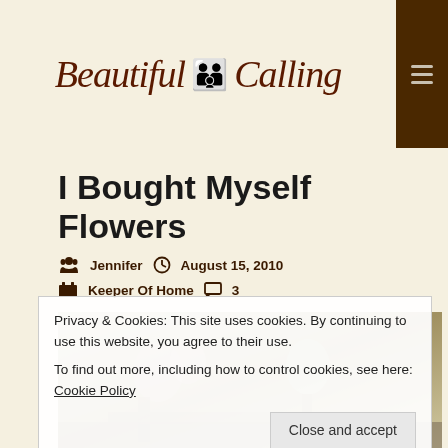Beautiful Calling
I Bought Myself Flowers
Jennifer  August 15, 2010  Keeper Of Home  3
[Figure (photo): Photo of flowers in a vase on a table, partially obscured by cookie consent banner]
Privacy & Cookies: This site uses cookies. By continuing to use this website, you agree to their use.
To find out more, including how to control cookies, see here: Cookie Policy
Close and accept